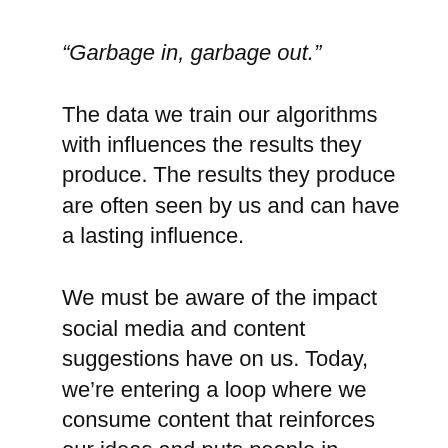“Garbage in, garbage out.”
The data we train our algorithms with influences the results they produce. The results they produce are often seen by us and can have a lasting influence.
We must be aware of the impact social media and content suggestions have on us. Today, we’re entering a loop where we consume content that reinforces our ideas and puts people in information silos.
Research projects that fight disinformation and help people break out of the cycle of reinforcement are critical to our future. If you